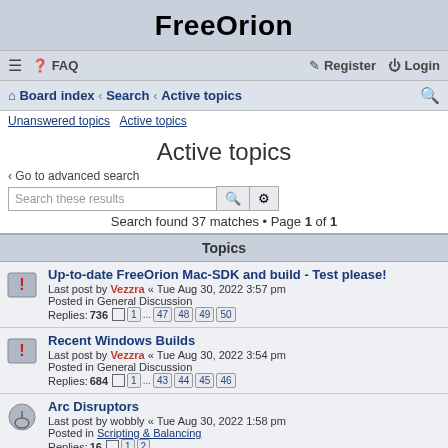FreeOrion
≡  FAQ    Register  Login
Board index · Search · Active topics
Unanswered topics   Active topics
Active topics
< Go to advanced search
Search these results
Search found 37 matches • Page 1 of 1
| Topics |
| --- |
| Up-to-date FreeOrion Mac-SDK and build - Test please!
Last post by Vezzra « Tue Aug 30, 2022 3:57 pm
Posted in General Discussion
Replies: 736  1 … 47 48 49 50 |
| Recent Windows Builds
Last post by Vezzra « Tue Aug 30, 2022 3:54 pm
Posted in General Discussion
Replies: 684  1 … 43 44 45 46 |
| Arc Disruptors
Last post by wobbly « Tue Aug 30, 2022 1:58 pm
Posted in Scripting & Balancing
Replies: 16  1 2 |